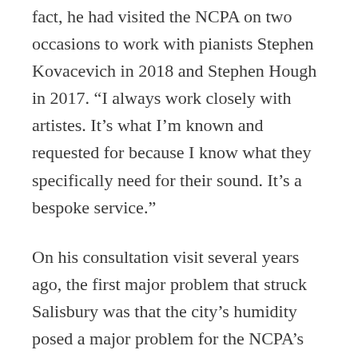fact, he had visited the NCPA on two occasions to work with pianists Stephen Kovacevich in 2018 and Stephen Hough in 2017. “I always work closely with artistes. It’s what I’m known and requested for because I know what they specifically need for their sound. It’s a bespoke service.”
On his consultation visit several years ago, the first major problem that struck Salisbury was that the city’s humidity posed a major problem for the NCPA’s collection of pianos. But, he says, Mr. Khushroo N. Suntook acted on his report and completely changed the